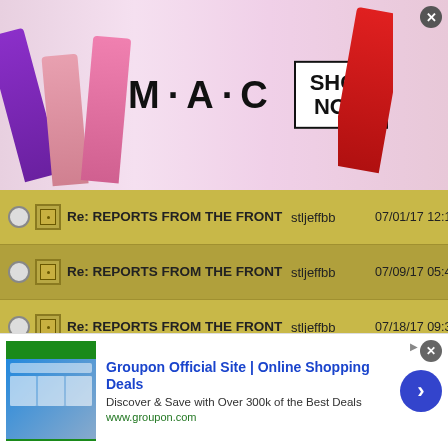[Figure (illustration): MAC Cosmetics advertisement banner showing colorful lipsticks on left and right, MAC logo in center with SHOP NOW button in a box. Close button in top-right corner.]
Re: REPORTS FROM THE FRONT | stljeffbb | 07/01/17 12:15 AM
Re: REPORTS FROM THE FRONT | stljeffbb | 07/09/17 05:49 PM
Re: REPORTS FROM THE FRONT | stljeffbb | 07/18/17 09:31 PM
Re: REPORTS FROM THE FRONT | stljeffbb | 07/20/17 02:55 PM
Re: REPORTS FROM THE FRONT | stljeffbb | 07/20/17 07:59 PM
Re: REPORTS FROM THE FRONT | stljeffbb | 07/22/17 04:51 AM
[Figure (screenshot): Groupon advertisement banner: Groupon Official Site | Online Shopping Deals. Discover & Save with Over 300k of the Best Deals. www.groupon.com. Blue arrow button on right. Close button top-right.]